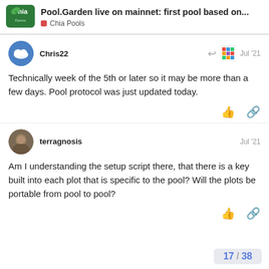Pool.Garden live on mainnet: first pool based on... | Chia Pools
Chris22 — Jul '21
Technically week of the 5th or later so it may be more than a few days. Pool protocol was just updated today.
terragnosis — Jul '21
Am I understanding the setup script there, that there is a key built into each plot that is specific to the pool? Will the plots be portable from pool to pool?
17 / 38